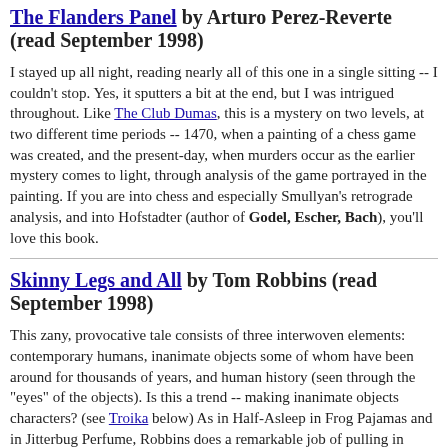The Flanders Panel by Arturo Perez-Reverte (read September 1998)
I stayed up all night, reading nearly all of this one in a single sitting -- I couldn't stop. Yes, it sputters a bit at the end, but I was intrigued throughout. Like The Club Dumas, this is a mystery on two levels, at two different time periods -- 1470, when a painting of a chess game was created, and the present-day, when murders occur as the earlier mystery comes to light, through analysis of the game portrayed in the painting. If you are into chess and especially Smullyan's retrograde analysis, and into Hofstadter (author of Godel, Escher, Bach), you'll love this book.
Skinny Legs and All by Tom Robbins (read September 1998)
This zany, provocative tale consists of three interwoven elements: contemporary humans, inanimate objects some of whom have been around for thousands of years, and human history (seen through the "eyes" of the objects). Is this a trend -- making inanimate objects characters? (see Troika below) As in Half-Asleep in Frog Pajamas and in Jitterbug Perfume, Robbins does a remarkable job of pulling in esoteric historical, religious, and anthropological